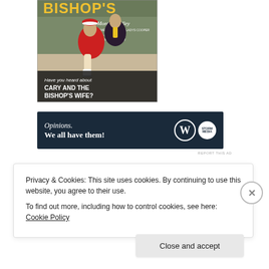[Figure (illustration): Movie poster for 'The Bishop's Wife' featuring Monty Woolley, with text 'Have you heard about CARY AND THE BISHOP'S WIFE?' and credits for James Gleason, Gladys Cooper, directed by Henry Koster]
[Figure (infographic): Dark navy advertisement banner reading 'Opinions. We all have them!' with WordPress logo and another circular logo on the right]
REPORT THIS AD
Privacy & Cookies: This site uses cookies. By continuing to use this website, you agree to their use.
To find out more, including how to control cookies, see here: Cookie Policy
Close and accept